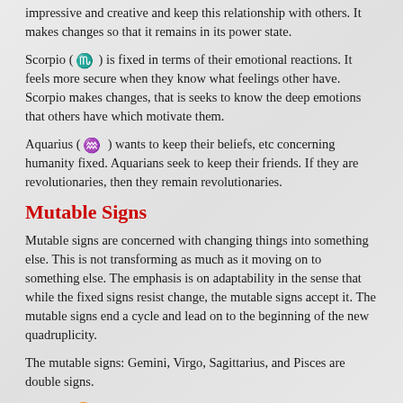impressive and creative and keep this relationship with others. It makes changes so that it remains in its power state.
Scorpio (♏) is fixed in terms of their emotional reactions. It feels more secure when they know what feelings other have. Scorpio makes changes, that is seeks to know the deep emotions that others have which motivate them.
Aquarius (♒) wants to keep their beliefs, etc concerning humanity fixed. Aquarians seek to keep their friends. If they are revolutionaries, then they remain revolutionaries.
Mutable Signs
Mutable signs are concerned with changing things into something else. This is not transforming as much as it moving on to something else. The emphasis is on adaptability in the sense that while the fixed signs resist change, the mutable signs accept it. The mutable signs end a cycle and lead on to the beginning of the new quadruplicity.
The mutable signs: Gemini, Virgo, Sagittarius, and Pisces are double signs.
Gemini (♊) is a sign of the air and therefore is concerned with